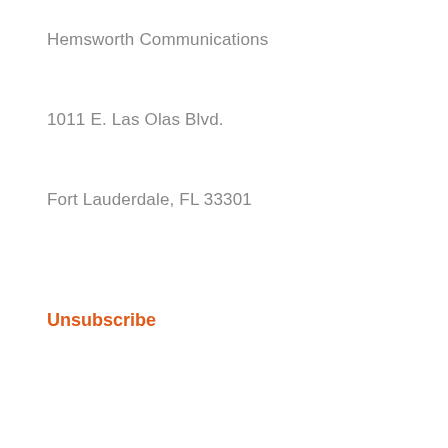Hemsworth Communications
1011 E. Las Olas Blvd.
Fort Lauderdale, FL 33301
Unsubscribe